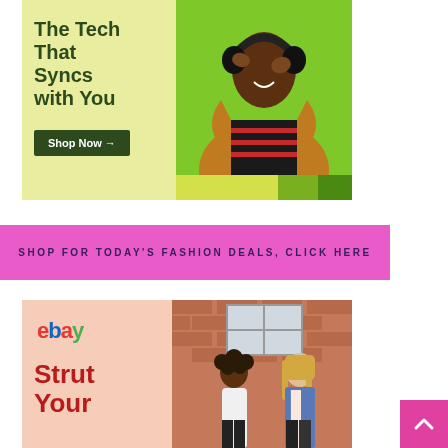[Figure (photo): Advertisement banner with light yellow-green background on left showing dark green bold text 'The Tech That Syncs with You' and a dark green 'Shop Now →' button. Right side shows a photo of a smiling Black woman wearing headphones and a tan jacket over a striped top, against a green background. Bottom strip shows color swatches (yellow, olive green, dark green).]
[Figure (other): Pink/magenta horizontal banner with text 'SHOP FOR TODAY'S FASHION DEALS, CLICK HERE' in spaced capital letters.]
[Figure (photo): eBay advertisement with light peach/salmon background. Left side shows 'ebay' logo in dark red and bold dark red text 'Strut Your'. Right side shows photo of two young women standing in front of a brick building.]
[Figure (other): Magenta/pink square button with a white upward-pointing caret/arrow icon, positioned at bottom right.]